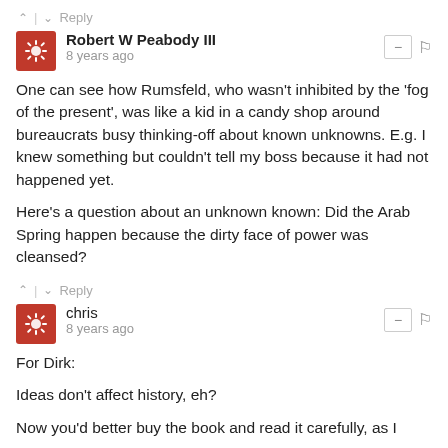^ | v  Reply
Robert W Peabody III
8 years ago
One can see how Rumsfeld, who wasn't inhibited by the 'fog of the present', was like a kid in a candy shop around bureaucrats busy thinking-off about known unknowns. E.g. I knew something but couldn't tell my boss because it had not happened yet.

Here's a question about an unknown known: Did the Arab Spring happen because the dirty face of power was cleansed?
^ | v  Reply
chris
8 years ago
For Dirk:

Ideas don't affect history, eh?

Now you'd better buy the book and read it carefully, as I